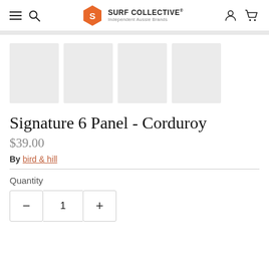Surf Collective – Independent Aussie Brands
[Figure (photo): Four placeholder/loading product thumbnail images in a row, shown as light gray rectangles]
Signature 6 Panel - Corduroy
$39.00
By bird & hill
Quantity
Quantity controls: minus, 1, plus